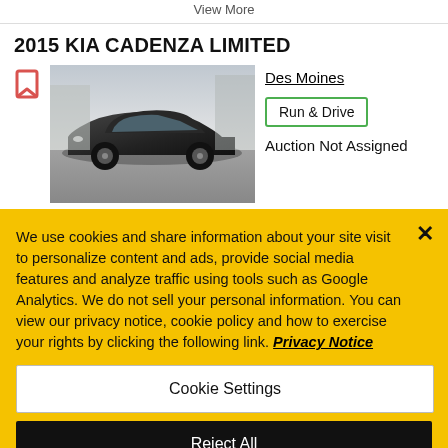View More
2015 KIA CADENZA LIMITED
Des Moines
Run & Drive   Auction Not Assigned
[Figure (photo): Photo of a dark-colored 2015 Kia Cadenza parked outdoors]
We use cookies and share information about your site visit to personalize content and ads, provide social media features and analyze traffic using tools such as Google Analytics. We do not sell your personal information. You can view our privacy notice, cookie policy and how to exercise your rights by clicking the following link. Privacy Notice
Cookie Settings
Reject All
Accept Cookies